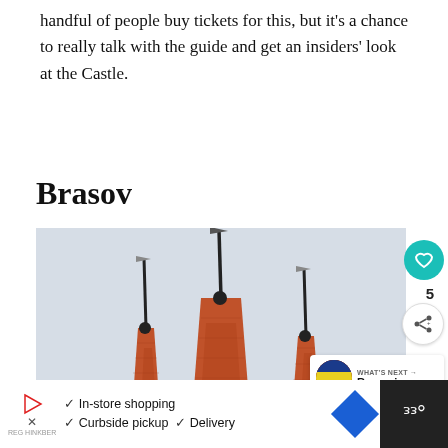handful of people buy tickets for this, but it's a chance to really talk with the guide and get an insiders' look at the Castle.
Brasov
[Figure (photo): Three ornate Gothic church spires with red tiled roofs and small flags at their peaks, photographed against a pale grey-blue sky. The central spire is tallest. This appears to be the Black Church or similar historic church in Brasov, Romania.]
WHAT'S NEXT → Romania